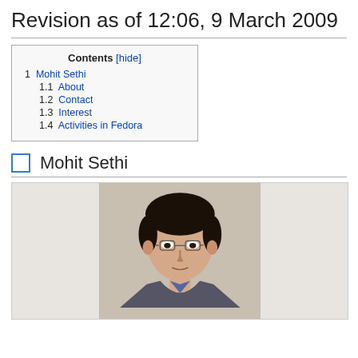Revision as of 12:06, 9 March 2009
1  Mohit Sethi
1.1  About
1.2  Contact
1.3  Interest
1.4  Activities in Fedora
1  Mohit Sethi
[Figure (photo): Headshot photo of Mohit Sethi, a young man with dark hair and glasses wearing a dark jacket]